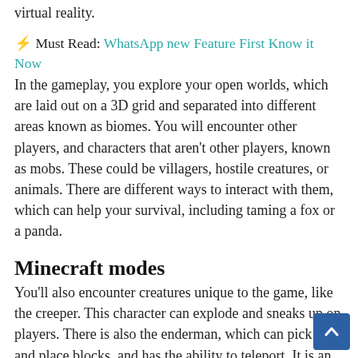virtual reality.
⚡ Must Read: WhatsApp new Feature First Know it Now
In the gameplay, you explore your open worlds, which are laid out on a 3D grid and separated into different areas known as biomes. You will encounter other players, and characters that aren't other players, known as mobs. These could be villagers, hostile creatures, or animals. There are different ways to interact with them, which can help your survival, including taming a fox or a panda.
Minecraft modes
You'll also encounter creatures unique to the game, like the creeper. This character can explode and sneaks up on players. There is also the enderman, which can pick up and place blocks, and has the ability to teleport. It is an inventive and imaginative world, so will appeal to any who likes fantasy or creativity.